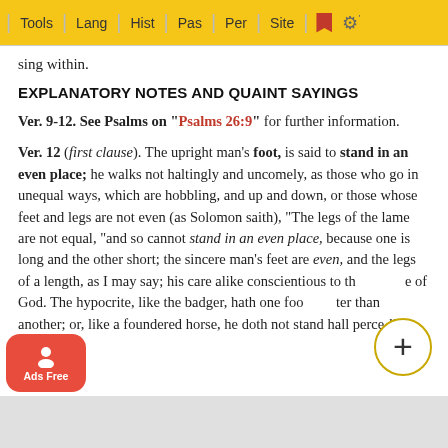Tools | Lang | Hist | Pas | Per | Site
sing within.
EXPLANATORY NOTES AND QUAINT SAYINGS
Ver. 9-12. See Psalms on "Psalms 26:9" for further information.
Ver. 12 (first clause). The upright man's foot, is said to stand in an even place; he walks not haltingly and uncomely, as those who go in unequal ways, which are hobbling, and up and down, or those whose feet and legs are not even (as Solomon saith), "The legs of the lame are not equal, "and so cannot stand in an even place, because one is long and the other short; the sincere man's feet are even, and the legs of a length, as I may say; his care alike conscientious to the whole of God. The hypocrite, like the badger, hath one foot shorter than another; or, like a foundered horse, he doth not stand ... shall perce ... ll.